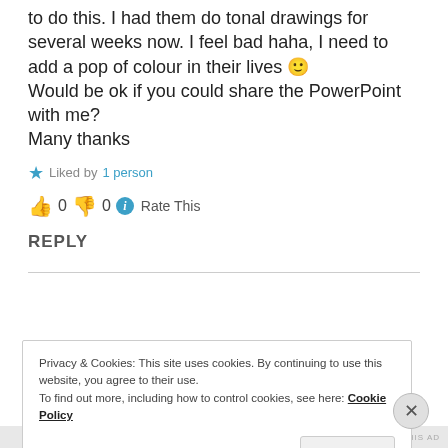to do this. I had them do tonal drawings for several weeks now. I feel bad haha, I need to add a pop of colour in their lives 🙂
Would be ok if you could share the PowerPoint with me?
Many thanks
★ Liked by 1 person
👍 0 👎 0 ℹ Rate This
REPLY
Privacy & Cookies: This site uses cookies. By continuing to use this website, you agree to their use.
To find out more, including how to control cookies, see here: Cookie Policy
I accept!